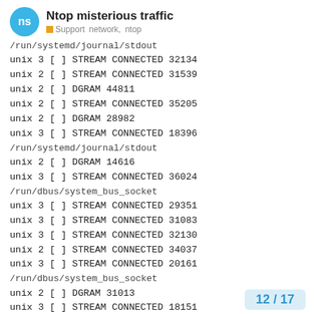Ntop misterious traffic
Support  network,  ntop
/run/systemd/journal/stdout
unix 3 [ ] STREAM CONNECTED 32134
unix 2 [ ] STREAM CONNECTED 31539
unix 2 [ ] DGRAM 44811
unix 2 [ ] STREAM CONNECTED 35205
unix 2 [ ] DGRAM 28982
unix 3 [ ] STREAM CONNECTED 18396
/run/systemd/journal/stdout
unix 2 [ ] DGRAM 14616
unix 3 [ ] STREAM CONNECTED 36024
/run/dbus/system_bus_socket
unix 3 [ ] STREAM CONNECTED 29351
unix 3 [ ] STREAM CONNECTED 31083
unix 3 [ ] STREAM CONNECTED 32130
unix 2 [ ] STREAM CONNECTED 34037
unix 3 [ ] STREAM CONNECTED 20161
/run/dbus/system_bus_socket
unix 2 [ ] DGRAM 31013
unix 3 [ ] STREAM CONNECTED 18151
12 / 17